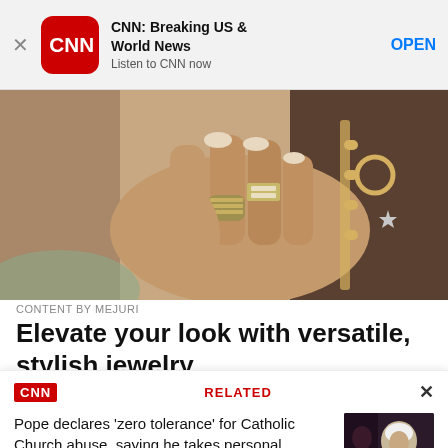[Figure (screenshot): App store banner for CNN: Breaking US & World News app with red CNN logo icon, app name, tagline 'Listen to CNN now', and OPEN button]
[Figure (photo): Close-up photograph of hands wearing gold rings and jewelry, one hand resting on another, showcasing Mejuri jewelry]
CONTENT BY MEJURI
Elevate your look with versatile, stylish jewelry
[Figure (screenshot): CNN Related articles card overlay with CNN logo, RELATED label, close X button, article headline about Pope declaring zero tolerance for Catholic Church abuse, and a thumbnail photo of the Pope]